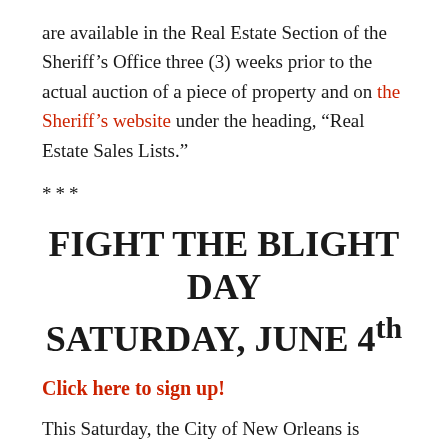are available in the Real Estate Section of the Sheriff's Office three (3) weeks prior to the actual auction of a piece of property and on the Sheriff's website under the heading, "Real Estate Sales Lists."
***
FIGHT THE BLIGHT DAY SATURDAY, JUNE 4th
Click here to sign up!
This Saturday, the City of New Orleans is